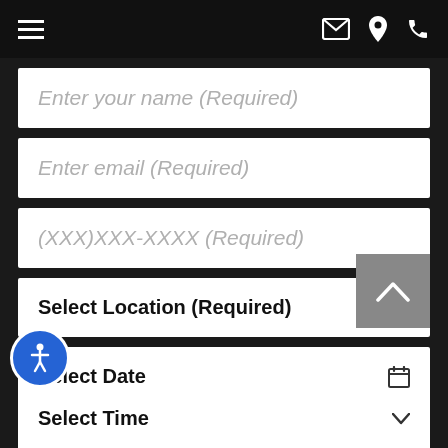Navigation bar with hamburger menu, email, location, and phone icons
Enter your name (Required)
Enter email (Required)
(XXX)XXX-XXXX (Required)
Select Location (Required)
Select Date
Select Time